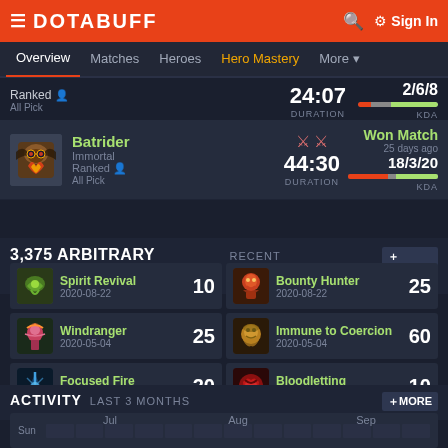DOTABUFF | Sign In
Overview | Matches | Heroes | Hero Mastery | More
Ranked All Pick | DURATION: 24:07 | KDA: 2/6/8
Batrider Immortal | Won Match 25 days ago | Ranked All Pick | DURATION: 44:30 | KDA: 18/3/20
3,375 ARBITRARY POINTS RECENT ACHIEVEMENTS + MORE
Spirit Revival 2020-08-22 | 10
Bounty Hunter 2020-08-22 | 25
Windranger 2020-05-04 | 25
Immune to Coercion 2020-05-04 | 60
Focused Fire 2020-05-03 | 20
Bloodletting 2019-08-23 | 10
ACTIVITY LAST 3 MONTHS + MORE
Jul | Aug | Sep | Sun